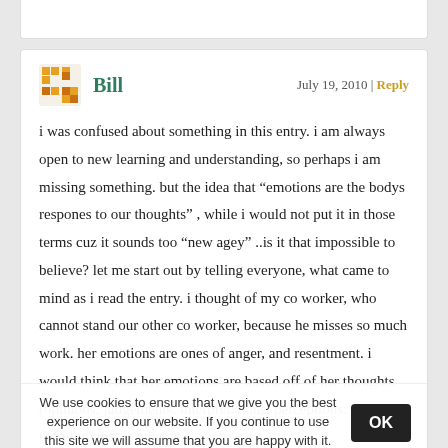Bill   July 19, 2010 | Reply
i was confused about something in this entry. i am always open to new learning and understanding, so perhaps i am missing something. but the idea that “emotions are the bodys respones to our thoughts” , while i would not put it in those terms cuz it sounds too “new agey” ..is it that impossible to believe? let me start out by telling everyone, what came to mind as i read the entry. i thought of my co worker, who cannot stand our other co worker, because he misses so much work. her emotions are ones of anger, and resentment. i would think that her emotions are based off of her thoughts (opinions, judgements, interpretations. perceptions. etc) and therefore that is what is
We use cookies to ensure that we give you the best experience on our website. If you continue to use this site we will assume that you are happy with it.